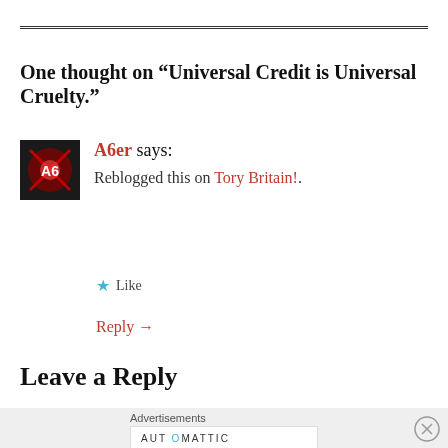One thought on “Universal Credit is Universal Cruelty.”
A6er says: Reblogged this on Tory Britain!.
★ Like
Reply →
Leave a Reply
Advertisements AUTOMATTIC Build a better web and a better world.